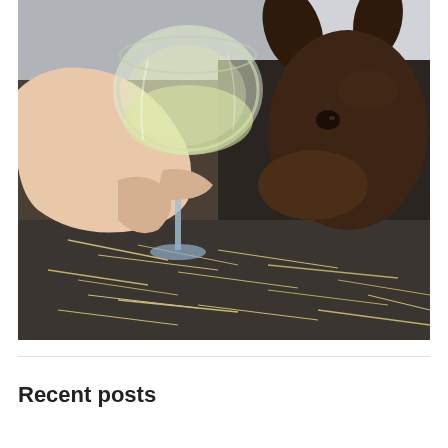[Figure (photo): A hand holding a wine glass with white wine, with a dark brown goat or young deer sniffing toward the glass. The ground is covered with hay/straw. The background shows the animal's head close up.]
Recent posts